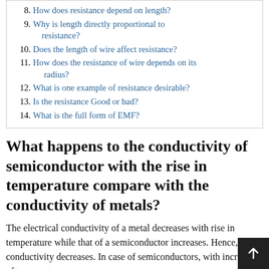8. How does resistance depend on length?
9. Why is length directly proportional to resistance?
10. Does the length of wire affect resistance?
11. How does the resistance of wire depends on its radius?
12. What is one example of resistance desirable?
13. Is the resistance Good or bad?
14. What is the full form of EMF?
What happens to the conductivity of semiconductor with the rise in temperature compare with the conductivity of metals?
The electrical conductivity of a metal decreases with rise in temperature while that of a semiconductor increases. Hence, conductivity decreases. In case of semiconductors, with increase of temperature, mo